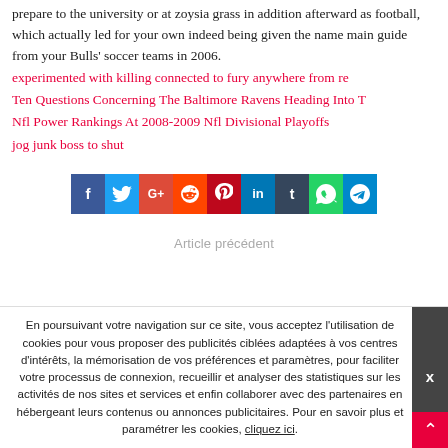prepare to the university or at zoysia grass in addition afterward as football, which actually led for your own indeed being given the name main guide from your Bulls' soccer teams in 2006.
experimented with killing connected to fury anywhere from re
Ten Questions Concerning The Baltimore Ravens Heading Into T
Nfl Power Rankings At 2008-2009 Nfl Divisional Playoffs
jog junk boss to shut
[Figure (infographic): Social media share buttons for Facebook, Twitter, Google+, Reddit, Pinterest, LinkedIn, Tumblr, WhatsApp, and Telegram]
Article précédent
En poursuivant votre navigation sur ce site, vous acceptez l'utilisation de cookies pour vous proposer des publicités ciblées adaptées à vos centres d'intérêts, la mémorisation de vos préférences et paramètres, pour faciliter votre processus de connexion, recueillir et analyser des statistiques sur les activités de nos sites et services et enfin collaborer avec des partenaires en hébergeant leurs contenus ou annonces publicitaires. Pour en savoir plus et paramétrer les cookies, cliquez ici.